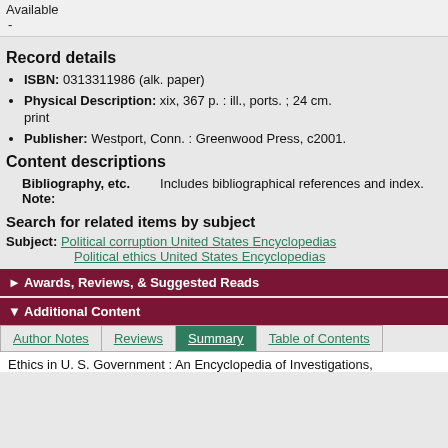Available
-
Record details
ISBN: 0313311986 (alk. paper)
Physical Description: xix, 367 p. : ill., ports. ; 24 cm. print
Publisher: Westport, Conn. : Greenwood Press, c2001.
Content descriptions
| Bibliography, etc. Note: | Includes bibliographical references and index. |
Search for related items by subject
Subject: Political corruption United States Encyclopedias
Political ethics United States Encyclopedias
► Awards, Reviews, & Suggested Reads
▼ Additional Content
Author Notes | Reviews | Summary | Table of Contents
Ethics in U. S. Government : An Encyclopedia of Investigations,